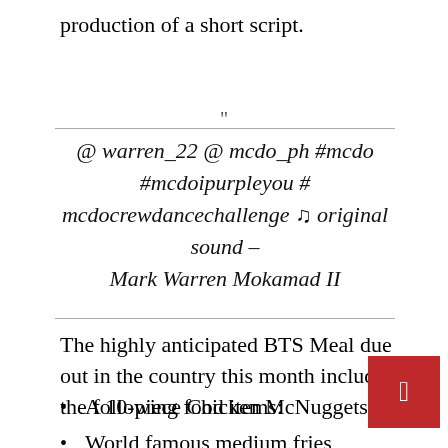production of a short script.
@ warren_22 @ mcdo_ph #mcdo #mcdoipurpleyou # mcdocrewdancechallenge ♫ original sound – Mark Warren Mokamad II
The highly anticipated BTS Meal due out in the country this month includes the following food items:
A 10-piece Chicken McNuggets
World famous medium fries